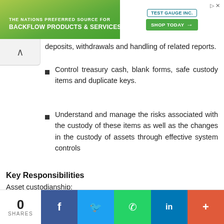[Figure (other): Advertisement banner for Test Gauge Inc. with green gradient background, tagline 'THE NATIONS PREFERRED SOURCE FOR BACKFLOW PRODUCTS & SERVICES', logo, and 'SHOP TODAY' button.]
deposits, withdrawals and handling of related reports.
Control treasury cash, blank forms, safe custody items and duplicate keys.
Understand and manage the risks associated with the custody of these items as well as the changes in the custody of assets through effective system controls
Key Responsibilities
Asset custodianship:
Custodian of treasury cash, reserve, blank forms and keys & cash